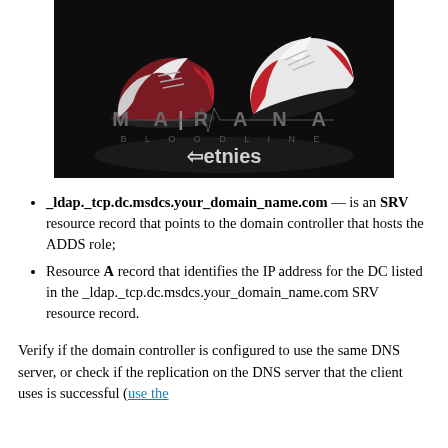[Figure (photo): Advertisement image for Etnies Marana Bloodline shoe. Dark background with white and red sneakers, text reading MARANA BLOODLINE and the Etnies logo.]
_ldap._tcp.dc.msdcs.your_domain_name.com — is an SRV resource record that points to the domain controller that hosts the ADDS role;
Resource A record that identifies the IP address for the DC listed in the _ldap._tcp.dc.msdcs.your_domain_name.com SRV resource record.
Verify if the domain controller is configured to use the same DNS server, or check if the replication on the DNS server that the client uses is successful (use the